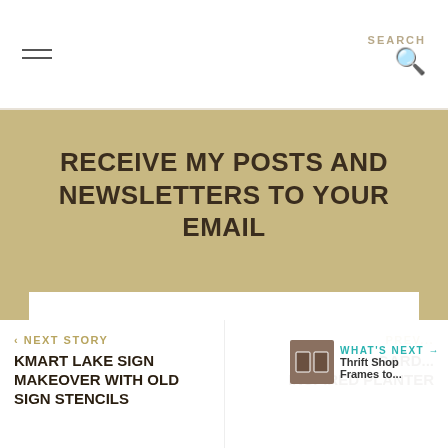SEARCH
RECEIVE MY POSTS AND NEWSLETTERS TO YOUR EMAIL
Email Address...
SUBMIT
1
‹ NEXT STORY
KMART LAKE SIGN MAKEOVER WITH OLD SIGN STENCILS
PREV...
GARD... INSPIRED PLANTER
WHAT'S NEXT → Thrift Shop Frames to...